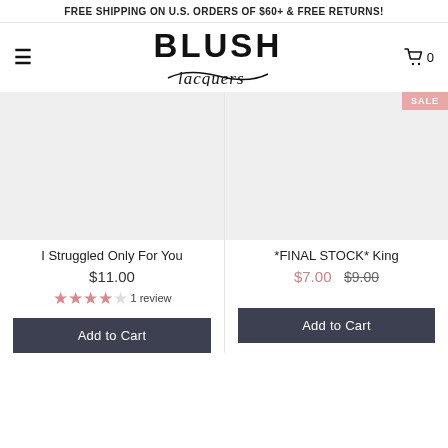FREE SHIPPING ON U.S. ORDERS OF $60+ & FREE RETURNS!
[Figure (logo): Blush Lacquers brand logo with serif BLUSH text and script lacquers below]
SALE
I Struggled Only For You
$11.00
1 review
*FINAL STOCK* King
$7.00 $9.00
Add to Cart